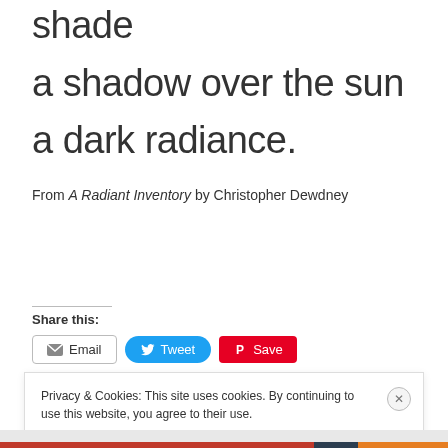shade
a shadow over the sun
a dark radiance.
From A Radiant Inventory by Christopher Dewdney
Share this:
Privacy & Cookies: This site uses cookies. By continuing to use this website, you agree to their use.
To find out more, including how to control cookies, see here: Cookie Policy
Close and accept